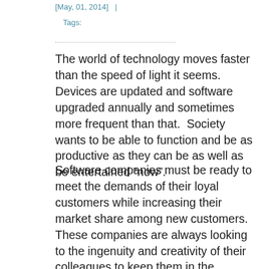[May, 01, 2014]   |
Tags:
The world of technology moves faster than the speed of light it seems. Devices are updated and software upgraded annually and sometimes more frequent than that.  Society wants to be able to function and be as productive as they can be as well as be entertained “now”.
Software companies must be ready to meet the demands of their loyal customers while increasing their market share among new customers. These companies are always looking to the ingenuity and creativity of their colleagues to keep them in the consumer’s focus. But, who are these “colleagues”? Are they required to be young, twenty-somethings that are